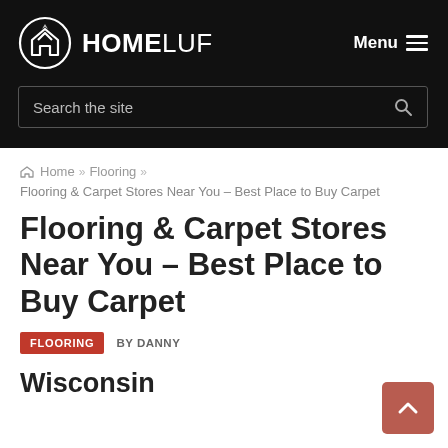HOMELUF — Menu
Search the site
Home » Flooring »
Flooring & Carpet Stores Near You – Best Place to Buy Carpet
Flooring & Carpet Stores Near You – Best Place to Buy Carpet
FLOORING  BY DANNY
Wisconsin